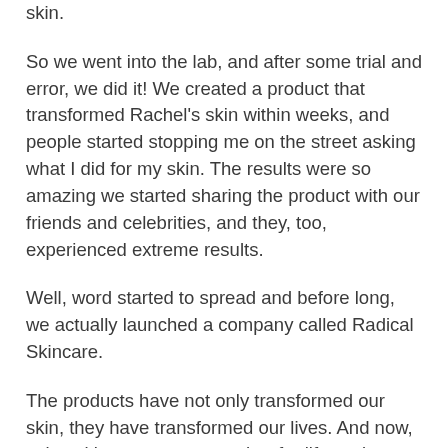skin.
So we went into the lab, and after some trial and error, we did it! We created a product that transformed Rachel's skin within weeks, and people started stopping me on the street asking what I did for my skin. The results were so amazing we started sharing the product with our friends and celebrities, and they, too, experienced extreme results.
Well, word started to spread and before long, we actually launched a company called Radical Skincare.
The products have not only transformed our skin, they have transformed our lives. And now, using skin care as a metaphor for life, we're helping our clients do the same.
This might sound like a stretch, but you can use your skincare regimen to improve the quality of your life. And all you have to do is use the marvelous imagination that Bob often talks about.
For instance, when you're washing your face and the rest of